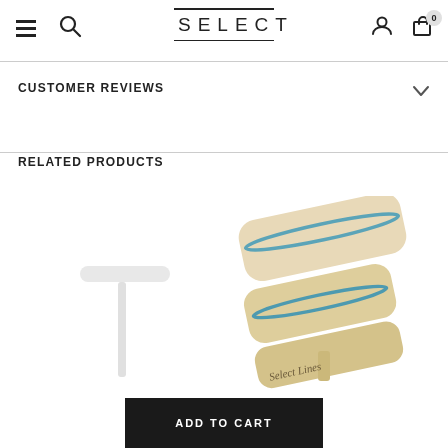SELECT
CUSTOMER REVIEWS
RELATED PRODUCTS
[Figure (photo): White T-bar jewelry display stand]
[Figure (photo): Beige/tan multi-tier bracelet display stand with Select Lines branding and blue gem bracelets]
ADD TO CART